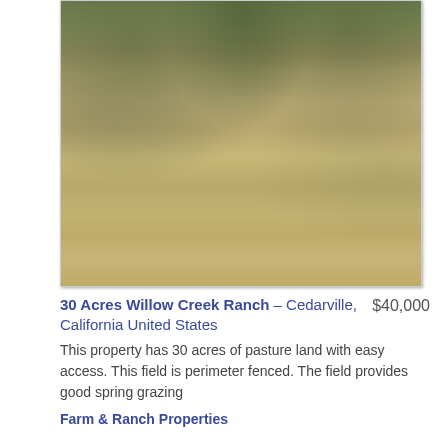[Figure (photo): Aerial/ground-level photo of dry pasture land with sparse grassy vegetation, showing brown and tan earth with scattered green shrubs, typical of California ranch land.]
30 Acres Willow Creek Ranch – Cedarville, California United States
$40,000
This property has 30 acres of pasture land with easy access. This field is perimeter fenced. The field provides good spring grazing
Farm & Ranch Properties